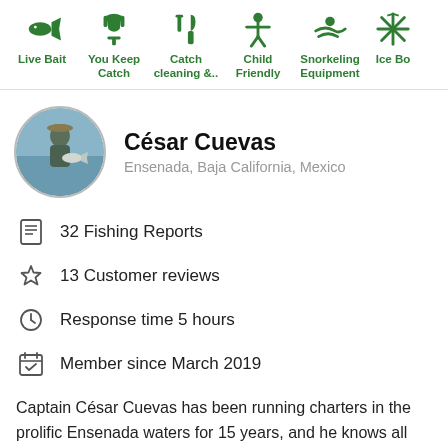[Figure (infographic): Row of green activity icons: Live Bait (fish), You Keep Catch (trophy), Catch cleaning &.. (utensils), Child Friendly (person with arms raised), Snorkeling Equipment (swimmer), Ice Bo.. (snowflake/partial)]
[Figure (photo): Circular profile photo of Captain César Cuevas holding a large fish on a boat]
César Cuevas
Ensenada, Baja California, Mexico
32 Fishing Reports
13 Customer reviews
Response time 5 hours
Member since March 2019
Captain César Cuevas has been running charters in the prolific Ensenada waters for 15 years, and he knows all about the best-hidden fishing hotspots in the area. He always puts the satisfaction of his customers first, and he